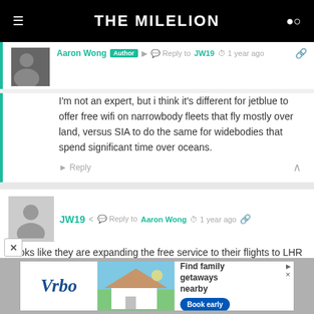THE MILELION
Reply to JW19 · 1 year ago
I'm not an expert, but i think it's different for jetblue to offer free wifi on narrowbody fleets that fly mostly over land, versus SIA to do the same for widebodies that spend significant time over oceans.
JW19 · Reply to Aaron Wong · 1 year ago
Looks like they are expanding the free service to their flights to LHR and LGW, let's see if SQ can take a page out of that book.
[Figure (other): Vrbo advertisement banner with house image and Book early button]